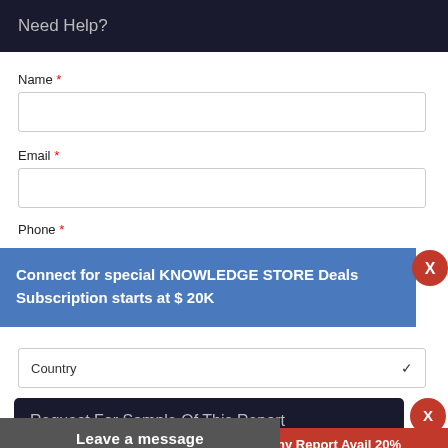Need Help?
Name *
Email *
Phone *
Connect for special KNOWLEDGE STORE Deals
Subscription starts at $ 20K
Country
Subject *
Request For Sample Of This Report
Buy Any Report Avail 20% 
 Code:
Leave a message
Comment